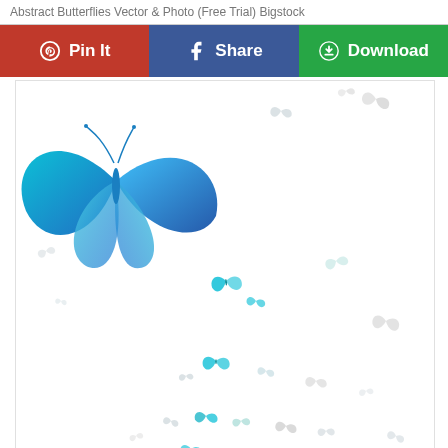Abstract Butterflies Vector & Photo (Free Trial) Bigstock
[Figure (other): Three social sharing buttons: Pinterest (Pin It, red), Facebook (Share, blue), Download (green with download icon)]
[Figure (illustration): Abstract butterflies illustration — one large vivid blue-cyan butterfly in the upper-left area, surrounded by many smaller gray and blue abstract butterfly/flower shapes scattered across a white background, fading toward edges.]